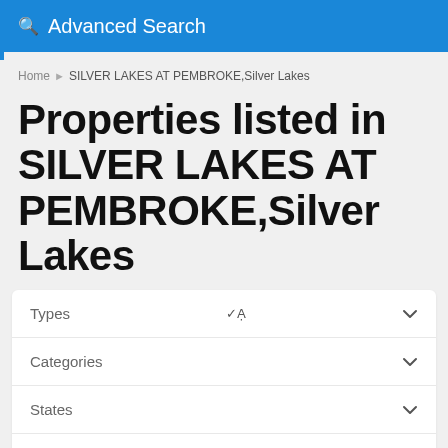Advanced Search
Home > SILVER LAKES AT PEMBROKE,Silver Lakes
Properties listed in SILVER LAKES AT PEMBROKE,Silver Lakes
Types
Categories
States
Cities